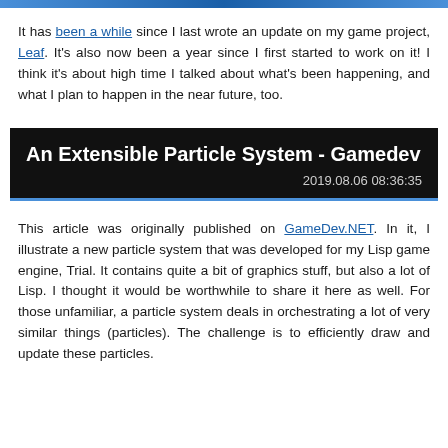It has been a while since I last wrote an update on my game project, Leaf. It's also now been a year since I first started to work on it! I think it's about high time I talked about what's been happening, and what I plan to happen in the near future, too.
An Extensible Particle System - Gamedev
2019.08.06 08:36:35
This article was originally published on GameDev.NET. In it, I illustrate a new particle system that was developed for my Lisp game engine, Trial. It contains quite a bit of graphics stuff, but also a lot of Lisp. I thought it would be worthwhile to share it here as well. For those unfamiliar, a particle system deals in orchestrating a lot of very similar things (particles). The challenge is to efficiently draw and update these particles.